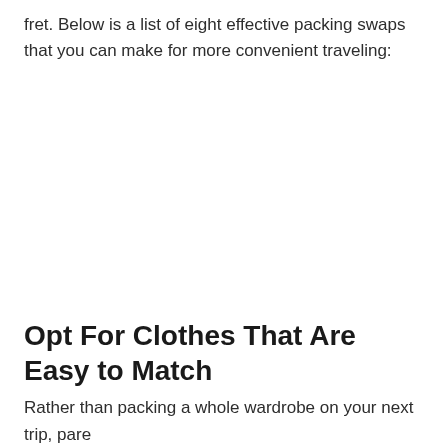fret. Below is a list of eight effective packing swaps that you can make for more convenient traveling:
Opt For Clothes That Are Easy to Match
Rather than packing a whole wardrobe on your next trip, pare